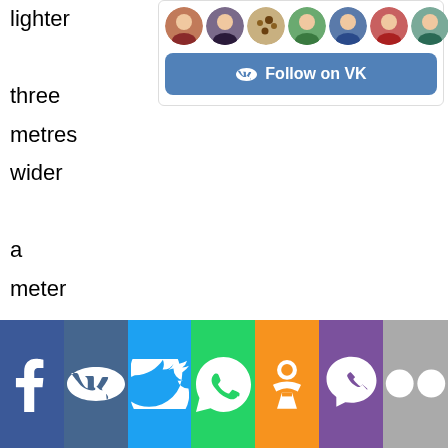lighter

three metres wider

a meter narrower

.
[Figure (screenshot): VK social widget with user avatars and Follow on VK button]
Вставьте эти фразы по смыслу в
[Figure (infographic): Social media icons bar: Facebook, VK, Twitter, WhatsApp, Odnoklassniki, Viber, Flickr]